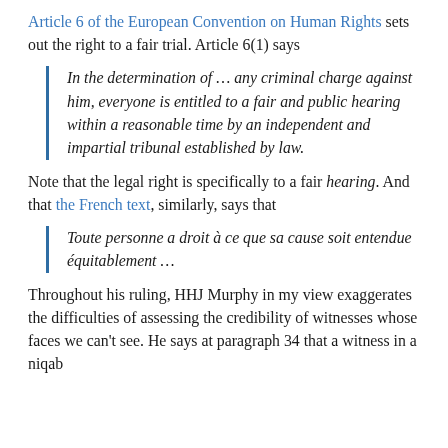Article 6 of the European Convention on Human Rights sets out the right to a fair trial. Article 6(1) says
In the determination of … any criminal charge against him, everyone is entitled to a fair and public hearing within a reasonable time by an independent and impartial tribunal established by law.
Note that the legal right is specifically to a fair hearing. And that the French text, similarly, says that
Toute personne a droit à ce que sa cause soit entendue équitablement …
Throughout his ruling, HHJ Murphy in my view exaggerates the difficulties of assessing the credibility of witnesses whose faces we can't see. He says at paragraph 34 that a witness in a niqab